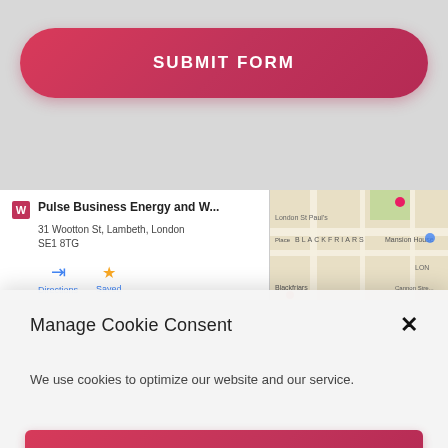[Figure (screenshot): A pink/red rounded button labeled SUBMIT FORM on a grey background]
[Figure (screenshot): A Google Maps strip showing Pulse Business Energy and W... at 31 Wootton St, Lambeth, London SE1 8TG with Directions and Saved options, and a partial map view with BLACKFRIARS area visible]
Manage Cookie Consent
We use cookies to optimize our website and our service.
I'M OK WITH THIS
DENY